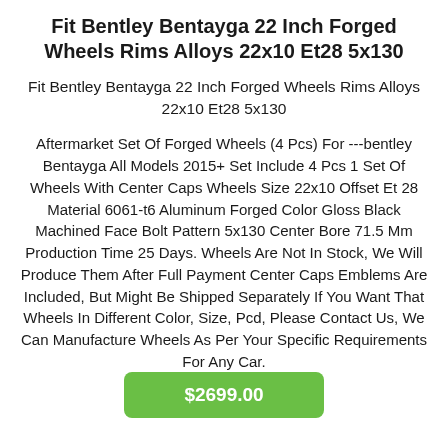Fit Bentley Bentayga 22 Inch Forged Wheels Rims Alloys 22x10 Et28 5x130
Fit Bentley Bentayga 22 Inch Forged Wheels Rims Alloys 22x10 Et28 5x130
Aftermarket Set Of Forged Wheels (4 Pcs) For ---bentley Bentayga All Models 2015+ Set Include 4 Pcs 1 Set Of Wheels With Center Caps Wheels Size 22x10 Offset Et 28 Material 6061-t6 Aluminum Forged Color Gloss Black Machined Face Bolt Pattern 5x130 Center Bore 71.5 Mm Production Time 25 Days. Wheels Are Not In Stock, We Will Produce Them After Full Payment Center Caps Emblems Are Included, But Might Be Shipped Separately If You Want That Wheels In Different Color, Size, Pcd, Please Contact Us, We Can Manufacture Wheels As Per Your Specific Requirements For Any Car.
$2699.00